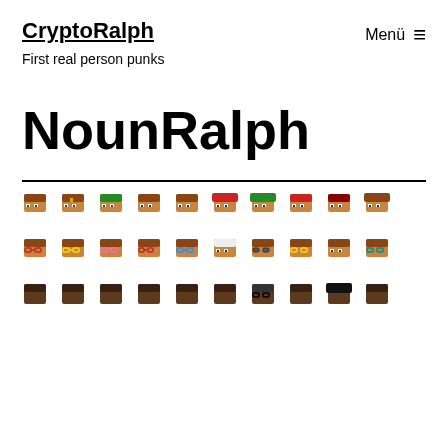CryptoRalph | Menü ≡
First real person punks
NounRalph
[Figure (illustration): Grid of pixel art character faces showing various Ralph-style punk avatars with different hair colors, accessories, and glasses across three rows]